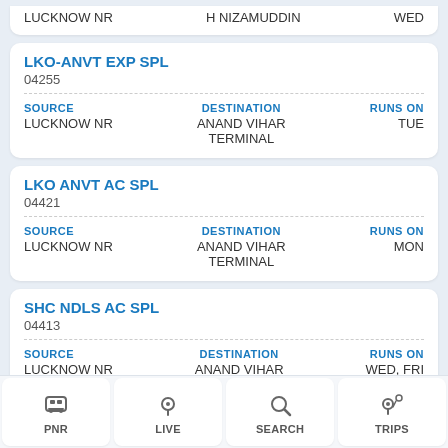LUCKNOW NR | H NIZAMUDDIN | WED
LKO-ANVT EXP SPL
04255
SOURCE: LUCKNOW NR | DESTINATION: ANAND VIHAR TERMINAL | RUNS ON: TUE
LKO ANVT AC SPL
04421
SOURCE: LUCKNOW NR | DESTINATION: ANAND VIHAR TERMINAL | RUNS ON: MON
SHC NDLS AC SPL
04413
SOURCE: LUCKNOW NR | DESTINATION: ANAND VIHAR TERMINAL | RUNS ON: WED, FRI
PNR | LIVE | SEARCH | TRIPS